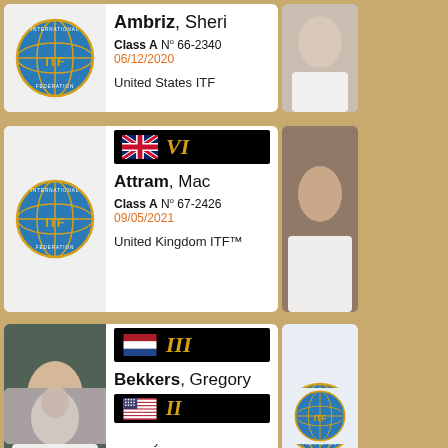Ambriz, Sheri — Class A N° 66-2340 06/12/2020 — United States ITF
Attram, Mac — Class A N° 67-2426 09/05/2021 — United Kingdom ITF™ — Rank VI
Bekkers, Gregory — Class B N° 66-2249 06/12/2020 — ITF Royal Dutch — Rank III
Rank II (partial, bottom)